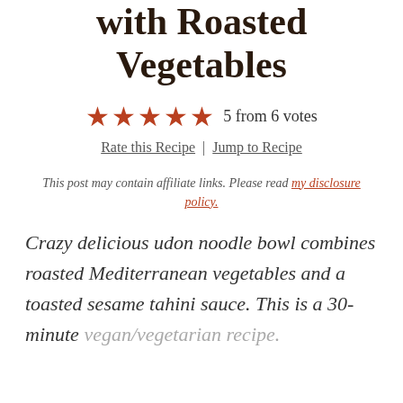with Roasted Vegetables
5 from 6 votes
Rate this Recipe | Jump to Recipe
This post may contain affiliate links. Please read my disclosure policy.
Crazy delicious udon noodle bowl combines roasted Mediterranean vegetables and a toasted sesame tahini sauce. This is a 30-minute vegan/vegetarian recipe.